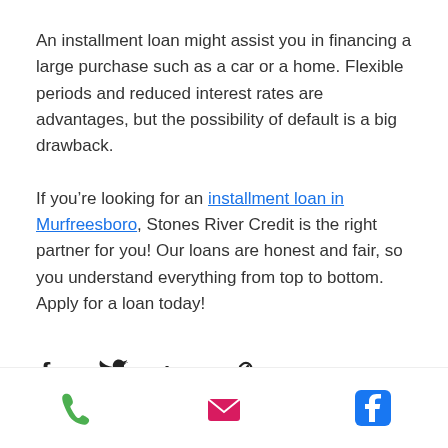An installment loan might assist you in financing a large purchase such as a car or a home. Flexible periods and reduced interest rates are advantages, but the possibility of default is a big drawback.
If you’re looking for an installment loan in Murfreesboro, Stones River Credit is the right partner for you! Our loans are honest and fair, so you understand everything from top to bottom. Apply for a loan today!
[Figure (infographic): Social share icons: Facebook, Twitter, LinkedIn, and link/copy icons in a horizontal row]
[Figure (infographic): Bottom navigation bar with phone (green), email (pink/magenta), and Facebook (blue) icons]